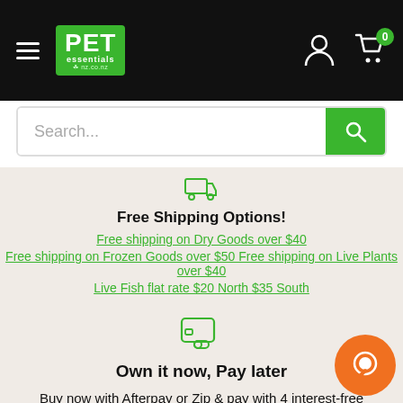[Figure (logo): Pet Essentials logo — green background with white PET text and essentials below]
Search...
Free Shipping Options!
Free shipping on Dry Goods over $40
Free shipping on Frozen Goods over $50 Free shipping on Live Plants over $40
Live Fish flat rate $20 North $35 South
[Figure (illustration): Credit/payment card icon in green outline style]
Own it now, Pay later
Buy now with Afterpay or Zip & pay with 4 interest-free installments.